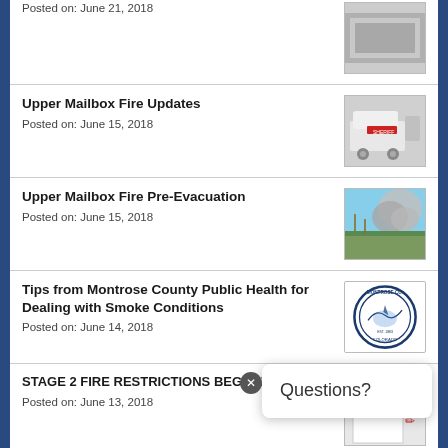Posted on: June 21, 2018
Upper Mailbox Fire Updates
Posted on: June 15, 2018
Upper Mailbox Fire Pre-Evacuation
Posted on: June 15, 2018
Tips from Montrose County Public Health for Dealing with Smoke Conditions
Posted on: June 14, 2018
STAGE 2 FIRE RESTRICTIONS BEGIN JUNE 14
Posted on: June 13, 2018
Improving Road Safety: New Intersections for Several Roads